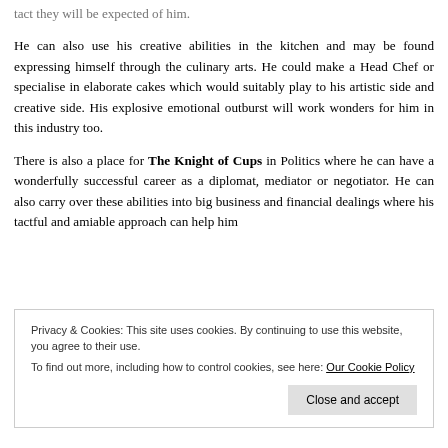tact they will be expected of him.
He can also use his creative abilities in the kitchen and may be found expressing himself through the culinary arts. He could make a Head Chef or specialise in elaborate cakes which would suitably play to his artistic side and creative side. His explosive emotional outburst will work wonders for him in this industry too.
There is also a place for The Knight of Cups in Politics where he can have a wonderfully successful career as a diplomat, mediator or negotiator. He can also carry over these abilities into big business and financial dealings where his tactful and amiable approach can help him
Privacy & Cookies: This site uses cookies. By continuing to use this website, you agree to their use.
To find out more, including how to control cookies, see here: Our Cookie Policy